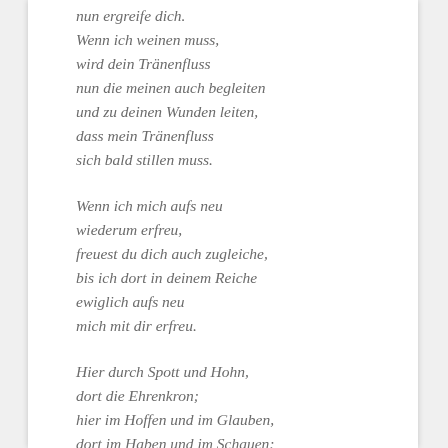nun ergreife dich.
Wenn ich weinen muss,
wird dein Tränenfluss
nun die meinen auch begleiten
und zu deinen Wunden leiten,
dass mein Tränenfluss
sich bald stillen muss.
Wenn ich mich aufs neu
wiederum erfreu,
freuest du dich auch zugleiche,
bis ich dort in deinem Reiche
ewiglich aufs neu
mich mit dir erfreu.
Hier durch Spott und Hohn,
dort die Ehrenkron;
hier im Hoffen und im Glauben,
dort im Haben und im Schauen;
denn die Ehrenkron
folgt auf Spott und Hohn.
Jesu, hilf, dass ich